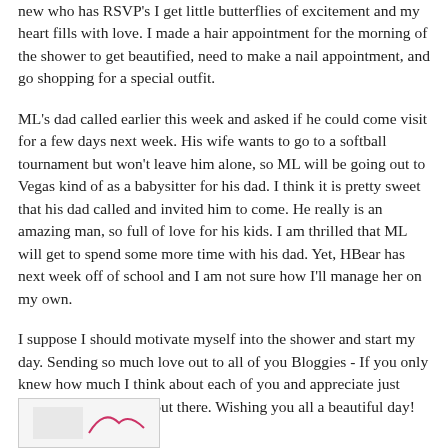new who has RSVP's I get little butterflies of excitement and my heart fills with love. I made a hair appointment for the morning of the shower to get beautified, need to make a nail appointment, and go shopping for a special outfit.
ML's dad called earlier this week and asked if he could come visit for a few days next week. His wife wants to go to a softball tournament but won't leave him alone, so ML will be going out to Vegas kind of as a babysitter for his dad. I think it is pretty sweet that his dad called and invited him to come. He really is an amazing man, so full of love for his kids. I am thrilled that ML will get to spend some more time with his dad. Yet, HBear has next week off of school and I am not sure how I'll manage her on my own.
I suppose I should motivate myself into the shower and start my day. Sending so much love out to all of you Bloggies - If you only knew how much I think about each of you and appreciate just knowing that you are out there. Wishing you all a beautiful day!
[Figure (illustration): Partial thumbnail image at bottom left, appears to be a decorative or signature image, mostly cut off.]